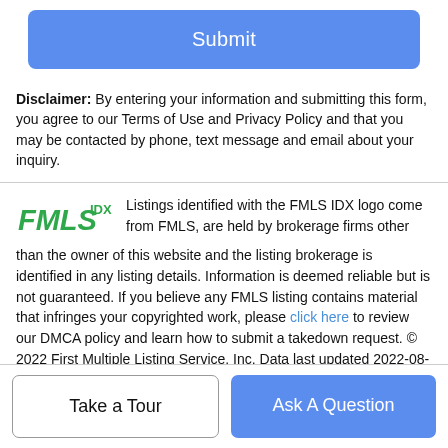Submit
Disclaimer: By entering your information and submitting this form, you agree to our Terms of Use and Privacy Policy and that you may be contacted by phone, text message and email about your inquiry.
Listings identified with the FMLS IDX logo come from FMLS, are held by brokerage firms other than the owner of this website and the listing brokerage is identified in any listing details. Information is deemed reliable but is not guaranteed. If you believe any FMLS listing contains material that infringes your copyrighted work, please click here to review our DMCA policy and learn how to submit a takedown request. © 2022 First Multiple Listing Service, Inc. Data last updated 2022-08-20T13:04:27.267. For issues regarding this website, please contact BoomTown.
Take a Tour
Ask A Question